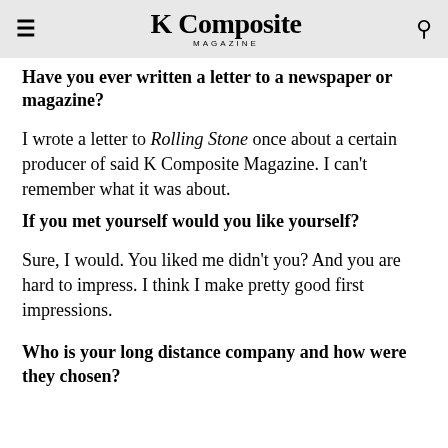K Composite MAGAZINE
Have you ever written a letter to a newspaper or magazine?
I wrote a letter to Rolling Stone once about a certain producer of said K Composite Magazine. I can't remember what it was about.
If you met yourself would you like yourself?
Sure, I would. You liked me didn't you? And you are hard to impress. I think I make pretty good first impressions.
Who is your long distance company and how were they chosen?